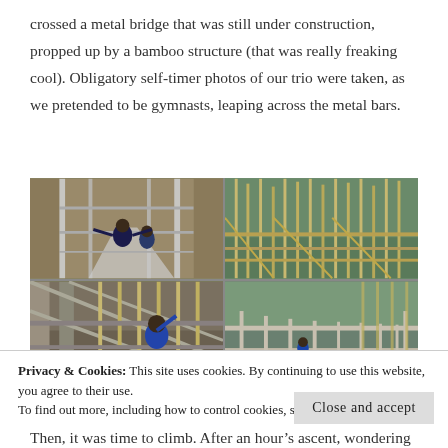crossed a metal bridge that was still under construction, propped up by a bamboo structure (that was really freaking cool). Obligatory self-timer photos of our trio were taken, as we pretended to be gymnasts, leaping across the metal bars.
[Figure (photo): Four photos in a 2x2 grid showing a metal bridge under construction supported by bamboo scaffolding. Top-left: people on the metal bridge walkway. Top-right: bamboo scaffolding exterior with trees in background. Bottom-left: person on bridge structure from below. Bottom-right: wide view of bridge scaffolding.]
Privacy & Cookies: This site uses cookies. By continuing to use this website, you agree to their use.
To find out more, including how to control cookies, see here: Cookie Policy
Close and accept
Then, it was time to climb. After an hour's ascent, wondering